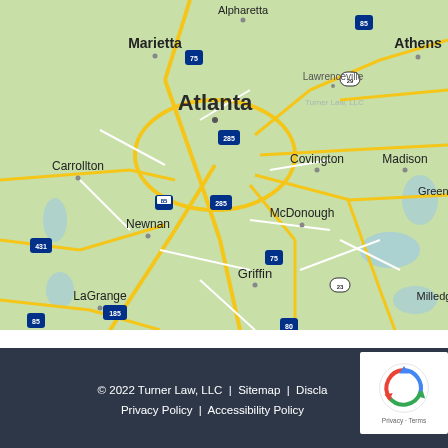[Figure (map): Google Maps view of the greater Atlanta, Georgia area showing cities including Alpharetta, Marietta, Athens, Lawrenceville, Atlanta, Carrollton, Covington, Madison, Greens, Newnan, McDonough, Griffin, LaGrange, Thomaston, Macon, Milledgeville, with major highways 75, 85, 285, 431, 185, 23, 29, 80 marked.]
© 2022 Turner Law, LLC  |  Sitemap  |  Disclaimer  |  Privacy Policy  |  Accessibility Policy